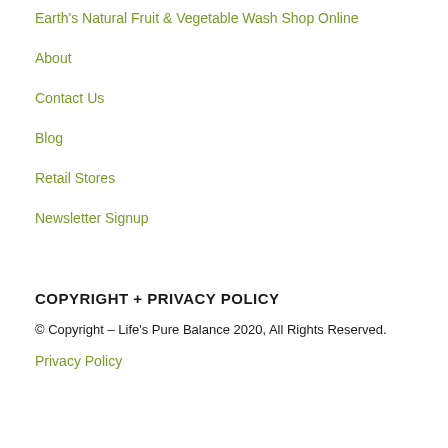Earth's Natural Fruit & Vegetable Wash Shop Online
About
Contact Us
Blog
Retail Stores
Newsletter Signup
COPYRIGHT + PRIVACY POLICY
© Copyright – Life's Pure Balance 2020, All Rights Reserved.
Privacy Policy